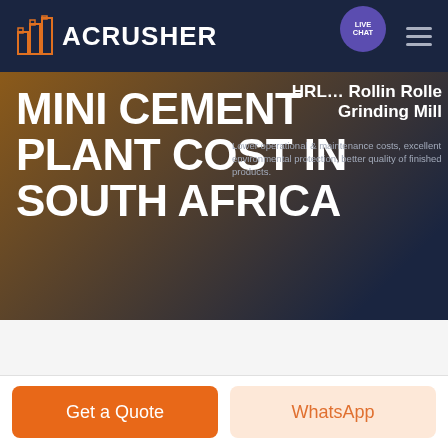[Figure (screenshot): ACRUSHER website header with dark navy background, orange building logo icon, white bold ACRUSHER text, and hamburger menu icon on the right]
MINI CEMENT PLANT COST IN SOUTH AFRICA
HRL… Rollin Roller Grinding Mill
Lower operational & maintenance costs, excellent environmental protection, better quality of finished products.
LIVE CHAT
HOME / PRODUCTS
Get a Quote
WhatsApp